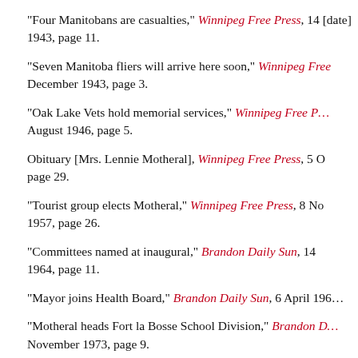"Four Manitobans are casualties," Winnipeg Free Press, 14 [date] 1943, page 11.
"Seven Manitoba fliers will arrive here soon," Winnipeg Free Press, December 1943, page 3.
"Oak Lake Vets hold memorial services," Winnipeg Free Press, August 1946, page 5.
Obituary [Mrs. Lennie Motheral], Winnipeg Free Press, 5 [date], page 29.
"Tourist group elects Motheral," Winnipeg Free Press, 8 November 1957, page 26.
"Committees named at inaugural," Brandon Daily Sun, 14 [date] 1964, page 11.
"Mayor joins Health Board," Brandon Daily Sun, 6 April 196[?].
"Motheral heads Fort la Bosse School Division," Brandon Daily Sun, November 1973, page 9.
"New school trustees," Brandon Daily Sun, 19 November [year].